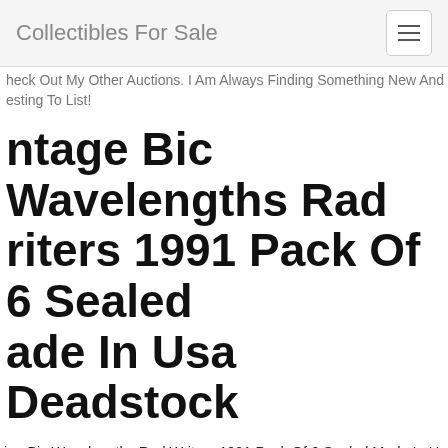Collectibles For Sale
Check Out My Other Auctions. I Am Always Finding Something New And Interesting To List!
Vintage Bic Wavelengths Rad Writers 1991 Pack Of 6 Sealed Made In Usa Deadstock
Vintage Bic Wavelengths Rad Writers 1991 Pack Of 6 Sealed Made In Usa Deadstock. These Are Old Pens For Collecting And If Opened And Use No Guarantee They Are Going To Work. Being Sold As Is. Please View Pictures.
Vintage Steel Services Inc Bic Roller Black Employee Pen (works).
Vintage Bic Wavelengths Art Attacks Pens Colorful Cap Color Ink New 1990s Up For Consideration Is A New Unopened Unused Bic Wavelengths Pens In The Art Attacks Collection.
Vintage 1980s Edding Colorpen Tin Metal Case Dega Artwork.see